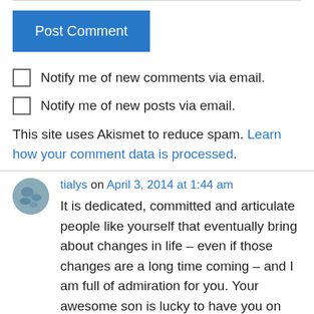Post Comment
Notify me of new comments via email.
Notify me of new posts via email.
This site uses Akismet to reduce spam. Learn how your comment data is processed.
tialys on April 3, 2014 at 1:44 am
It is dedicated, committed and articulate people like yourself that eventually bring about changes in life – even if those changes are a long time coming – and I am full of admiration for you. Your awesome son is lucky to have you on his